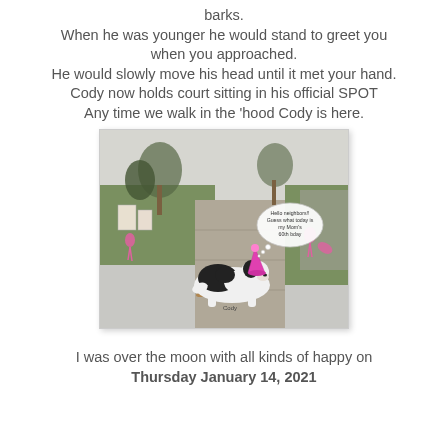barks.
When he was younger he would stand to greet you when you approached.
He would slowly move his head until it met your hand.
Cody now holds court sitting in his official SPOT
Any time we walk in the 'hood Cody is here.
[Figure (photo): A black and white dog wearing a pink party hat lying on a sidewalk. The yard has pink flamingo decorations. A thought bubble says 'Hello neighbors!! Guess what today is my Mom's 60th bday'. The label 'Cody' appears near the dog.]
I was over the moon with all kinds of happy on Thursday January 14, 2021